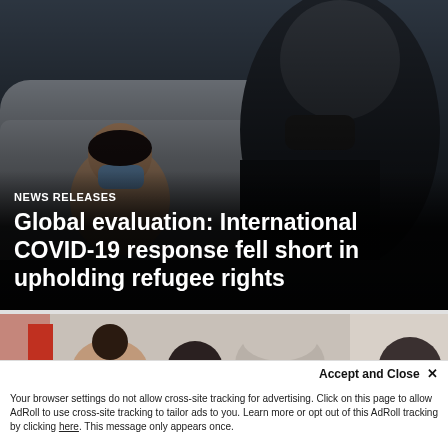[Figure (photo): Photo of refugees: a child wearing a blue face mask looking up, and an adult in dark clothing wearing a black face mask, sitting near a couch in a living room setting.]
NEWS RELEASES
Global evaluation: International COVID-19 response fell short in upholding refugee rights
[Figure (photo): A partial view of people in what appears to be an office or waiting room, showing the tops of their heads.]
We use cookies and other identifiers to help improve your online experience. By using our website you are agreeing to this. Read our privacy policy to find out what cookies are used for and how to change your settings.
Accept and Close ×
Your browser settings do not allow cross-site tracking for advertising. Click on this page to allow AdRoll to use cross-site tracking to tailor ads to you. Learn more or opt out of this AdRoll tracking by clicking here. This message only appears once.